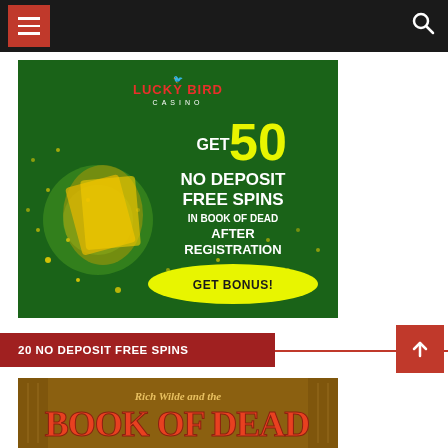[Figure (screenshot): Dark navigation bar with hamburger menu button (red background with 3 white lines) on the left and a search icon on the right. Red bar at very top.]
[Figure (illustration): Lucky Bird Casino advertisement banner on green background. Shows a man holding golden cards, with text: GET 50 NO DEPOSIT FREE SPINS IN BOOK OF DEAD AFTER REGISTRATION, and a yellow GET BONUS! button. Lucky Bird Casino logo at top.]
20 NO DEPOSIT FREE SPINS
[Figure (illustration): Partial view of Rich Wilde and the Book of Dead slot game title screen with golden/orange Egyptian-themed decorative elements.]